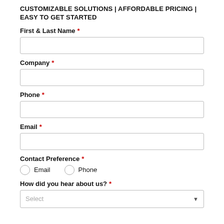CUSTOMIZABLE SOLUTIONS | AFFORDABLE PRICING | EASY TO GET STARTED
First & Last Name *
Company *
Phone *
Email *
Contact Preference *
Email
Phone
How did you hear about us? *
Select